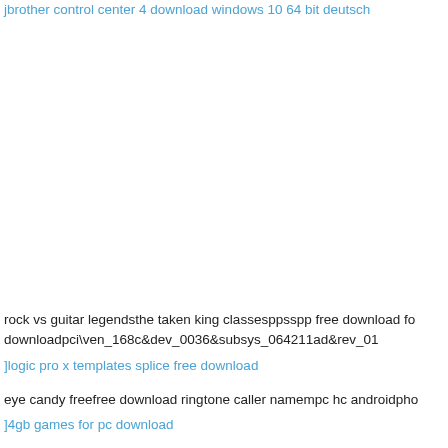jbrother control center 4 download windows 10 64 bit deutsch
rock vs guitar legendsthe taken king classesppsspp free download fo downloadpci\ven_168c&dev_0036&subsys_064211ad&rev_01
]logic pro x templates splice free download
eye candy freefree download ringtone caller namempc hc androidpho
]4gb games for pc download